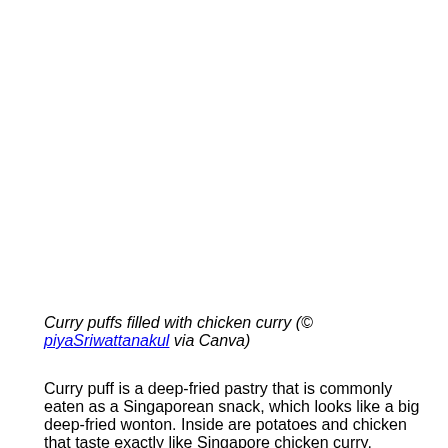Curry puffs filled with chicken curry (© piyaSriwattanakul via Canva)
Curry puff is a deep-fried pastry that is commonly eaten as a Singaporean snack, which looks like a big deep-fried wonton. Inside are potatoes and chicken that taste exactly like Singapore chicken curry.  Origins are uncertain but are said to have had some influence from the British during their colonization of Singapore. It may have some influence from Portuguese and Indian samosa as well. It is now one of the common snacks you'll see students eating after school or office workers during break time!